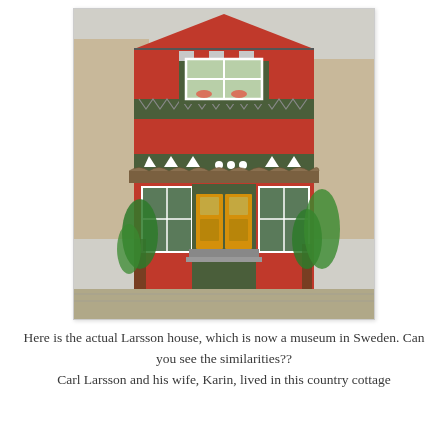[Figure (photo): Photograph of the actual Larsson house in Sweden, now a museum. A two-story red painted wooden building with dark green trim, decorative white arrow/chevron patterns along the facade bands, a yellow/ochre front door, white-framed windows, and lush green plants and vines growing around the entrance.]
Here is the actual Larsson house, which is now a museum in Sweden. Can you see the similarities?? Carl Larsson and his wife, Karin, lived in this country cottage